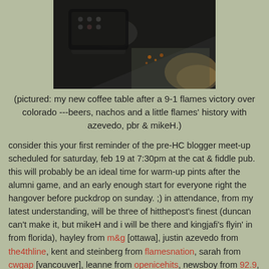[Figure (photo): A dark overhead photo of a coffee table with food/drinks items on it, viewed at an angle.]
(pictured: my new coffee table after a 9-1 flames victory over colorado ---beers, nachos and a little flames' history with azevedo, pbr & mikeH.)
consider this your first reminder of the pre-HC blogger meet-up scheduled for saturday, feb 19 at 7:30pm at the cat & fiddle pub. this will probably be an ideal time for warm-up pints after the alumni game, and an early enough start for everyone right the hangover before puckdrop on sunday. ;) in attendance, from my latest understanding, will be three of hitthepost's finest (duncan can't make it, but mikeH and i will be there and kingjafi's flyin' in from florida), hayley from m&g [ottawa], justin azevedo from the4thline, kent and steinberg from flamesnation, sarah from cwgap [vancouver], leanne from openicehits, newsboy from 92.9, d_p_h from comments infamy, and i believe htp pals pbr and sjc will also make an